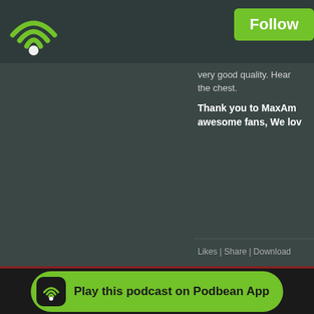[Figure (logo): Podbean wifi/podcast logo icon in green on dark background, top left]
Follow
very good quality.  Hear the chest.
Thank you to MaxAm awesome fans, We lov
Likes | Share | Download
July 28th, 2021
TSR Speed Sho
Play this podcast on Podbean App